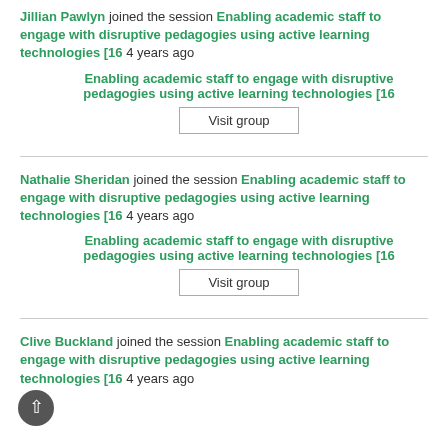Jillian Pawlyn joined the session Enabling academic staff to engage with disruptive pedagogies using active learning technologies [16 4 years ago
Enabling academic staff to engage with disruptive pedagogies using active learning technologies [16
Visit group
Nathalie Sheridan joined the session Enabling academic staff to engage with disruptive pedagogies using active learning technologies [16 4 years ago
Enabling academic staff to engage with disruptive pedagogies using active learning technologies [16
Visit group
Clive Buckland joined the session Enabling academic staff to engage with disruptive pedagogies using active learning technologies [16 4 years ago